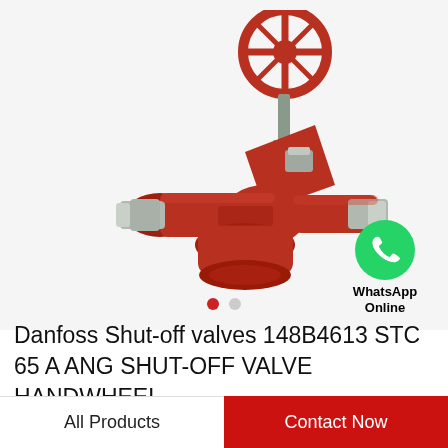[Figure (photo): Danfoss STC 65 A shut-off valve with handwheel — red-painted cast iron body with silver threaded ends and chrome stem assembly, valve tilted at angle with red handwheel on top]
[Figure (logo): WhatsApp green phone icon with text 'WhatsApp Online' below]
Danfoss Shut-off valves 148B4613 STC 65 A ANG SHUT-OFF VALVE HANDWHEEL
All Products
Contact Now